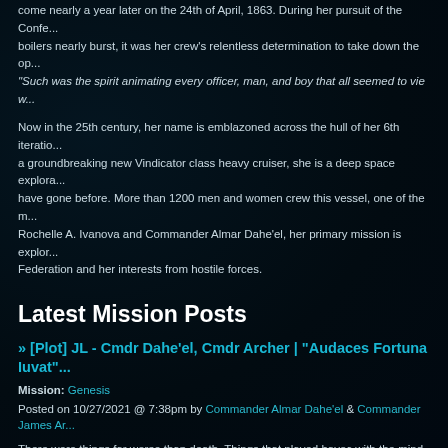come nearly a year later on the 24th of April, 1863. During her pursuit of the Confe... boilers nearly burst, it was her crew's relentless determination to take down the op... "Such was the spirit animating every officer, man, and boy that all seemed to vie w...
Now in the 25th century, her name is emblazoned across the hull of her 6th iteratio... a groundbreaking new Vindicator class heavy cruiser, she is a deep space explora... have gone before. More than 1200 men and women crew this vessel, one of the m... Rochelle A. Ivanova and Commander Almar Dahe'el, her primary mission is explor... Federation and her interests from hostile forces.
Latest Mission Posts
» [Plot] JL - Cmdr Dahe'el, Cmdr Archer | "Audaces Fortuna Iuvat"
Mission: Genesis
Posted on 10/27/2021 @ 7:38pm by Commander Almar Dahe'el & Commander James Ar...
There were things far worse than death. Things that played havoc with the mind, t...
Life was far less universal than death insofar that everybody eventually dies, but n...
» Personal Log | Lt. Shi'iara Stivi | "New Beginnings" part 2
Mission: Genesis
Posted on 10/25/2021 @ 2:53pm by Lieutenant Shi'iara Stivi